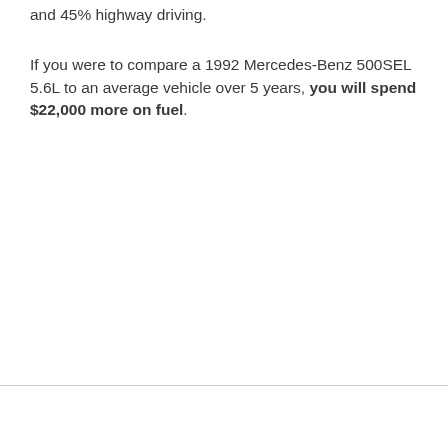and 45% highway driving.
If you were to compare a 1992 Mercedes-Benz 500SEL 5.6L to an average vehicle over 5 years, you will spend $22,000 more on fuel.